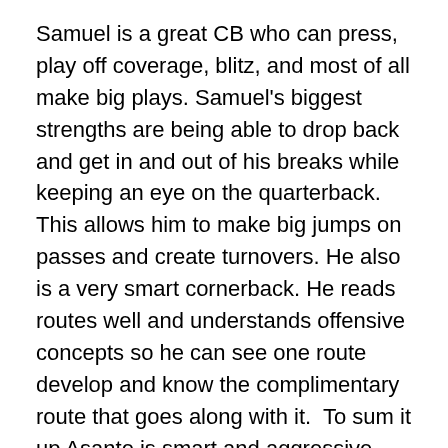Samuel is a great CB who can press, play off coverage, blitz, and most of all make big plays. Samuel's biggest strengths are being able to drop back and get in and out of his breaks while keeping an eye on the quarterback. This allows him to make big jumps on passes and create turnovers. He also is a very smart cornerback. He reads routes well and understands offensive concepts so he can see one route develop and know the complimentary route that goes along with it.  To sum it up Asante is smart and aggressive which should bode well in Double J's style of defense.
Chris Clemons' signing was made out to be a bigger deal then it really is.  Clemons is way too small to be an every down DE. At 245 lbs he will see time on 3rd and long and other obvious passing situations. In my opinion he may